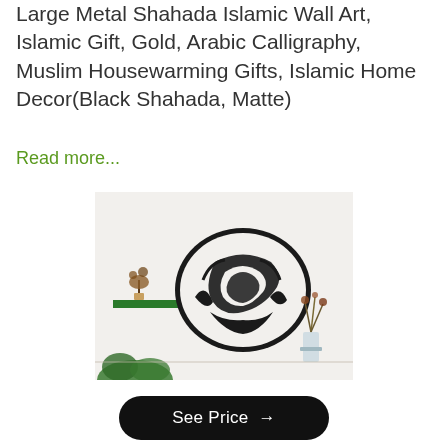Large Metal Shahada Islamic Wall Art, Islamic Gift, Gold, Arabic Calligraphy, Muslim Housewarming Gifts, Islamic Home Decor(Black Shahada, Matte)
Read more...
[Figure (photo): Photo of a large oval-shaped black metal Arabic calligraphy wall art (Shahada) mounted on a white wall, with a green shelf holding a small plant on the left and a glass vase with dried flowers on the right, and potted green plants at the bottom.]
See Price →